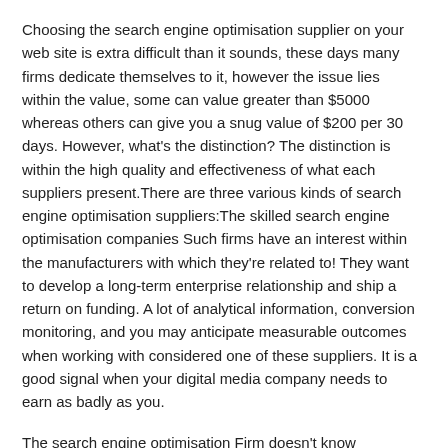Choosing the search engine optimisation supplier on your web site is extra difficult than it sounds, these days many firms dedicate themselves to it, however the issue lies within the value, some can value greater than $5000 whereas others can give you a snug value of $200 per 30 days. However, what's the distinction? The distinction is within the high quality and effectiveness of what each suppliers present.There are three various kinds of search engine optimisation suppliers:The skilled search engine optimisation companies Such firms have an interest within the manufacturers with which they're related to! They want to develop a long-term enterprise relationship and ship a return on funding. A lot of analytical information, conversion monitoring, and you may anticipate measurable outcomes when working with considered one of these suppliers. It is a good signal when your digital media company needs to earn as badly as you.
The search engine optimisation Firm doesn't know something good. There are many search engine optimisation firms that outsource something and the whole lot they do. Since they